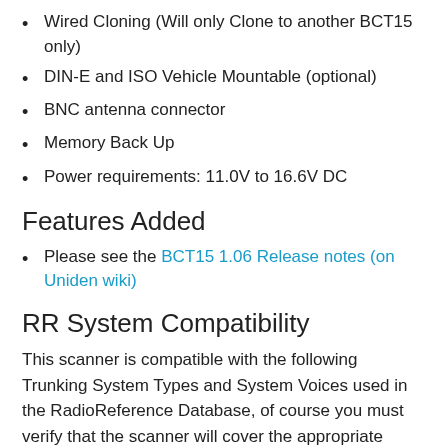Wired Cloning (Will only Clone to another BCT15 only)
DIN-E and ISO Vehicle Mountable (optional)
BNC antenna connector
Memory Back Up
Power requirements: 11.0V to 16.6V DC
Features Added
Please see the BCT15 1.06 Release notes (on Uniden wiki)
RR System Compatibility
This scanner is compatible with the following Trunking System Types and System Voices used in the RadioReference Database, of course you must verify that the scanner will cover the appropriate frequency range:
System Types:
Motorola Type I